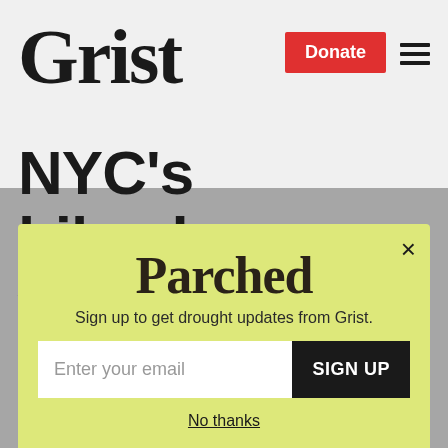Grist
NYC's bikeshare will have 10,000 bikes
[Figure (screenshot): Parched newsletter signup modal popup with yellow-green background. Contains the 'Parched' logo text, a tagline 'Sign up to get drought updates from Grist.', an email input field, a 'SIGN UP' button, and a 'No thanks' link. A close (×) button appears in the top right corner.]